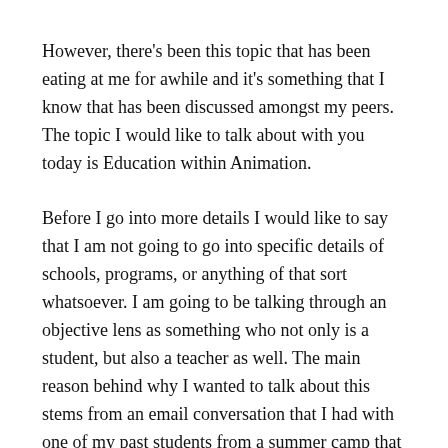However, there's been this topic that has been eating at me for awhile and it's something that I know that has been discussed amongst my peers. The topic I would like to talk about with you today is Education within Animation.
Before I go into more details I would like to say that I am not going to go into specific details of schools, programs, or anything of that sort whatsoever. I am going to be talking through an objective lens as something who not only is a student, but also a teacher as well. The main reason behind why I wanted to talk about this stems from an email conversation that I had with one of my past students from a summer camp that I taught at. I'll provide some background, during the summer between my freshmen and sophomore year, I was a Teaching Assistant for a 3D animation course for a